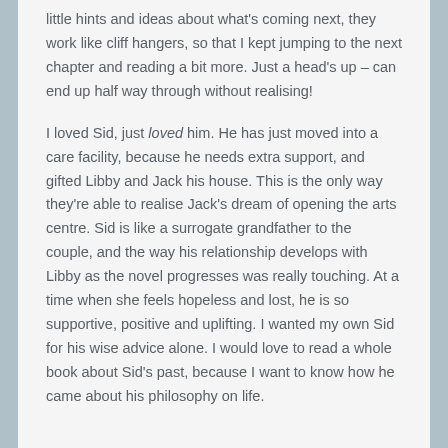little hints and ideas about what's coming next, they work like cliff hangers, so that I kept jumping to the next chapter and reading a bit more. Just a head's up – can end up half way through without realising!
I loved Sid, just loved him. He has just moved into a care facility, because he needs extra support, and gifted Libby and Jack his house. This is the only way they're able to realise Jack's dream of opening the arts centre. Sid is like a surrogate grandfather to the couple, and the way his relationship develops with Libby as the novel progresses was really touching. At a time when she feels hopeless and lost, he is so supportive, positive and uplifting. I wanted my own Sid for his wise advice alone. I would love to read a whole book about Sid's past, because I want to know how he came about his philosophy on life.